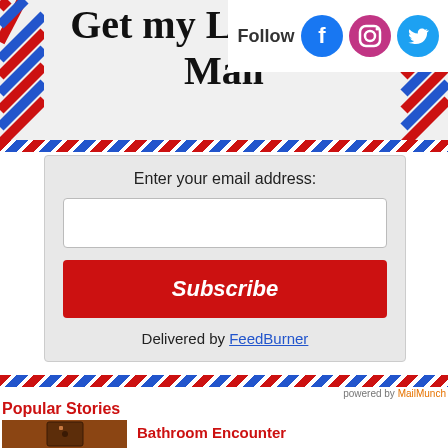Get my Latest Stories Delivered by Mail
Follow
Enter your email address:
Subscribe
Delivered by FeedBurner
powered by MailMunch
Popular Stories
[Figure (photo): Wooden outhouse door, warm brown tones]
Bathroom Encounter